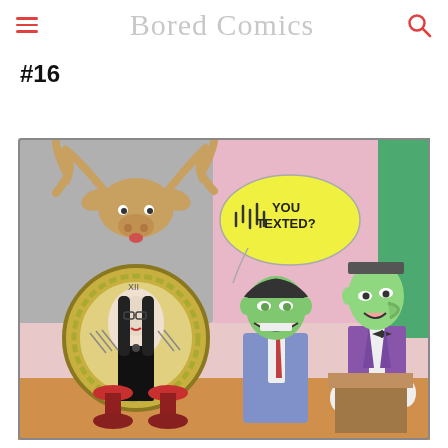Bored Comics
#16
[Figure (illustration): A comic panel showing Addams Family / monster-themed cartoon characters: a moose head trophy floating at top left, a woman with long black hair in a circular mirror frame on the left (resembling Morticia Addams), a green-skinned smiling man in a blue suit in the center, and a tall green-skinned man in a purple tuxedo on the right standing near a curtain. A yellow speech bubble reads 'YOU TEXTED?' with sound wave lines. Pink and grey background.]